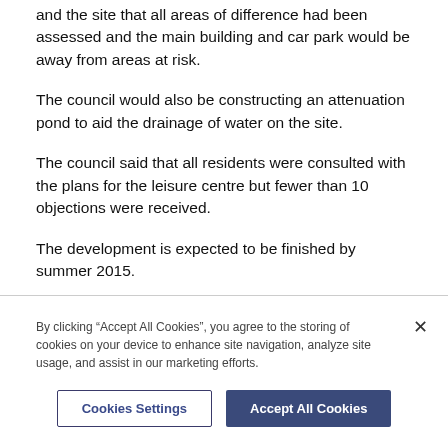and the site that all areas of difference had been assessed and the main building and car park would be away from areas at risk.
The council would also be constructing an attenuation pond to aid the drainage of water on the site.
The council said that all residents were consulted with the plans for the leisure centre but fewer than 10 objections were received.
The development is expected to be finished by summer 2015.
By clicking “Accept All Cookies”, you agree to the storing of cookies on your device to enhance site navigation, analyze site usage, and assist in our marketing efforts.